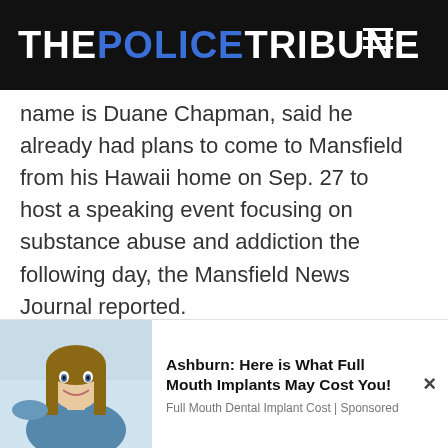THE POLICE TRIBUNE
name is Duane Chapman, said he already had plans to come to Mansfield from his Hawaii home on Sep. 27 to host a speaking event focusing on substance abuse and addiction the following day, the Mansfield News Journal reported.
Sponsored:
[Figure (photo): Advertisement photo of a young woman smiling at a dental office]
Ashburn: Here is What Full Mouth Implants May Cost You!
Full Mouth Dental Implant Cost | Sponsored